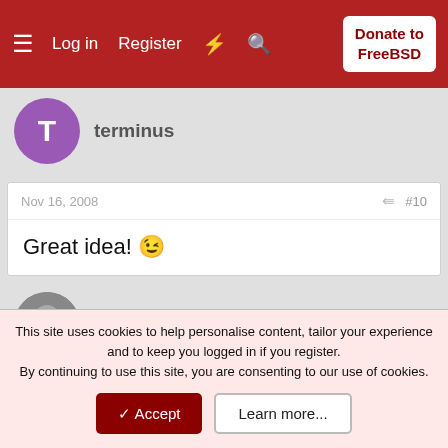Log in  Register  Donate to FreeBSD
terminus
Nov 16, 2008  #10
Great idea! 😉
[Figure (photo): Avatar photo of user hitest]
hitest
Nov 16, 2008  #11
Thank you and congratulations 🙂 The FreeBSD Forums are here!
This site uses cookies to help personalise content, tailor your experience and to keep you logged in if you register.
By continuing to use this site, you are consenting to our use of cookies.